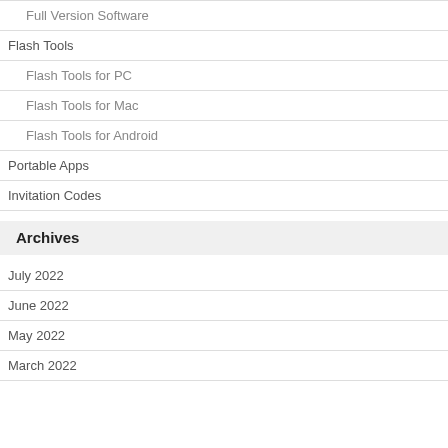Full Version Software
Flash Tools
Flash Tools for PC
Flash Tools for Mac
Flash Tools for Android
Portable Apps
Invitation Codes
Archives
July 2022
June 2022
May 2022
March 2022